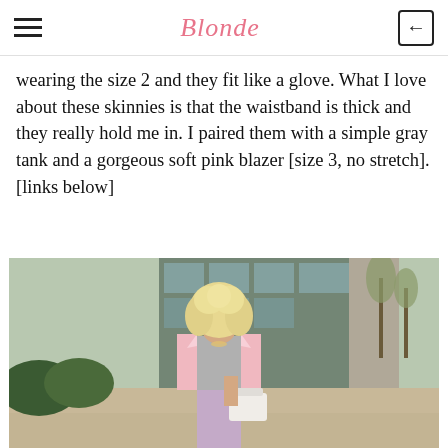Blonde
wearing the size 2 and they fit like a glove. What I love about these skinnies is that the waistband is thick and they really hold me in. I paired them with a simple gray tank and a gorgeous soft pink blazer [size 3, no stretch]. [links below]
[Figure (photo): A woman with curly blonde hair wearing a pink blazer over a gray top and lavender skinny jeans, holding a white handbag, standing outside a building with columns and trees in the background.]